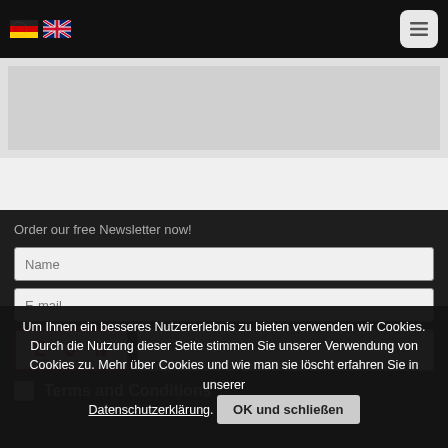Navigation bar with German and UK flag icons and hamburger menu button
[Figure (screenshot): Gray placeholder area representing page content/image]
Order our free Newsletter now!
Name
E-mail
[Figure (other): CAPTCHA image showing text 'EJN' in red bold letters on white background with red border, and an empty input field next to it]
Terms and Conditions
Um Ihnen ein besseres Nutzererlebnis zu bieten verwenden wir Cookies. Durch die Nutzung dieser Seite stimmen Sie unserer Verwendung von Cookies zu. Mehr über Cookies und wie man sie löscht erfahren Sie in unserer Datenschutzerklärung. OK und schließen